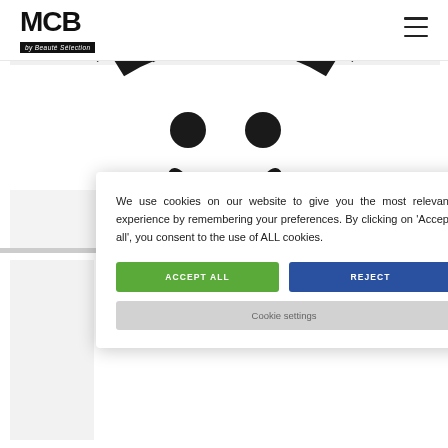[Figure (logo): MCB by Beauté Sélection logo — large bold MCB text with 'by Beauté Sélection' on a black background bar beneath]
[Figure (photo): Partial view of a large black circular/smiley-face graphic on white background, cropped at top and sides]
We use cookies on our website to give you the most relevant experience by remembering your preferences. By clicking on 'Accept all', you consent to the use of ALL cookies.
ACCEPT ALL
REJECT
Cookie settings